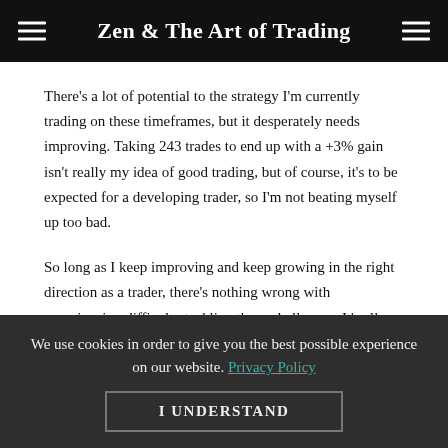Zen & The Art of Trading
There's a lot of potential to the strategy I'm currently trading on these timeframes, but it desperately needs improving. Taking 243 trades to end up with a +3% gain isn't really my idea of good trading, but of course, it's to be expected for a developing trader, so I'm not beating myself up too bad.
So long as I keep improving and keep growing in the right direction as a trader, there's nothing wrong with experiencing difficulty tackling these challenges. It's all part of the journey. Anyway, I'll keep you guys posted on my progress with regards to all of that.
We use cookies in order to give you the best possible experience on our website. Privacy Policy
I UNDERSTAND